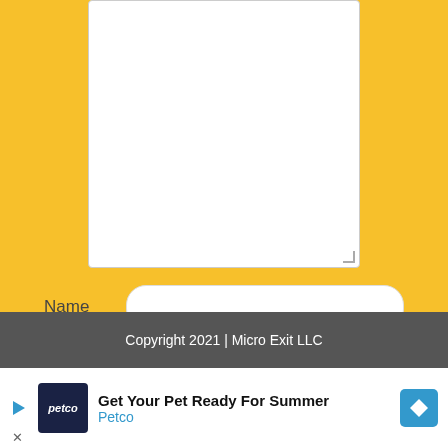[Figure (screenshot): A comment form on a yellow background with a textarea, Name field, Email (optional) field, a save checkbox, and a Post Comment button. Below is a dark footer bar with copyright text and an advertisement banner for Petco at the bottom.]
Name
Email (optional)
Save my name, email, and website in this browser for the next time I comment.
Post Comment
Copyright 2021 | Micro Exit LLC
Get Your Pet Ready For Summer
Petco